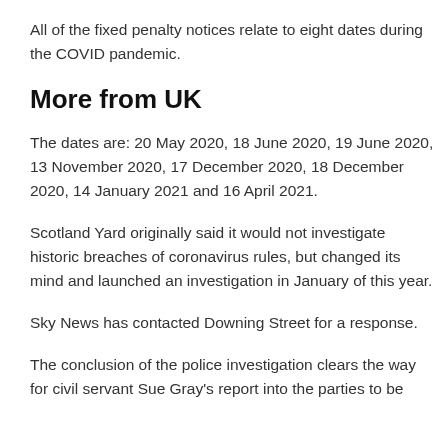All of the fixed penalty notices relate to eight dates during the COVID pandemic.
More from UK
The dates are: 20 May 2020, 18 June 2020, 19 June 2020, 13 November 2020, 17 December 2020, 18 December 2020, 14 January 2021 and 16 April 2021.
Scotland Yard originally said it would not investigate historic breaches of coronavirus rules, but changed its mind and launched an investigation in January of this year.
Sky News has contacted Downing Street for a response.
The conclusion of the police investigation clears the way for civil servant Sue Gray's report into the parties to be